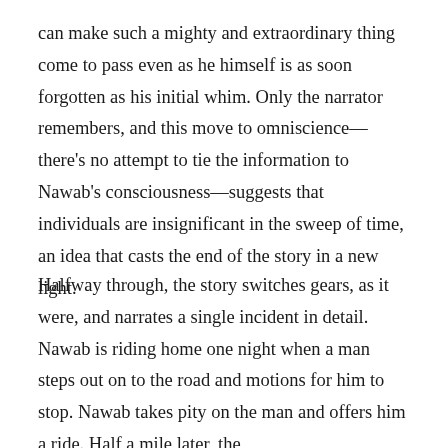can make such a mighty and extraordinary thing come to pass even as he himself is as soon forgotten as his initial whim. Only the narrator remembers, and this move to omniscience—there's no attempt to tie the information to Nawab's consciousness—suggests that individuals are insignificant in the sweep of time, an idea that casts the end of the story in a new light.
Halfway through, the story switches gears, as it were, and narrates a single incident in detail. Nawab is riding home one night when a man steps out on to the road and motions for him to stop. Nawab takes pity on the man and offers him a ride. Half a mile later, the